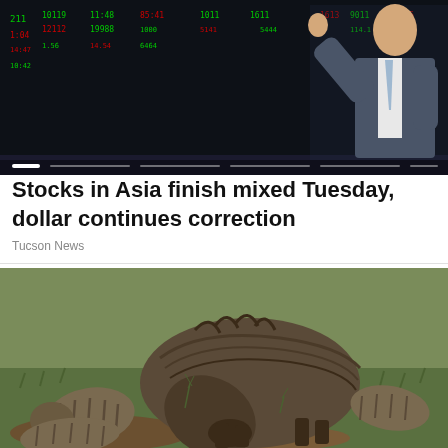[Figure (photo): A man in a suit pointing at a financial stock ticker display screen in the background, showing green and red market numbers.]
Stocks in Asia finish mixed Tuesday, dollar continues correction
Tucson News
[Figure (photo): A large wild boar with striped piglets foraging on grass and dirt.]